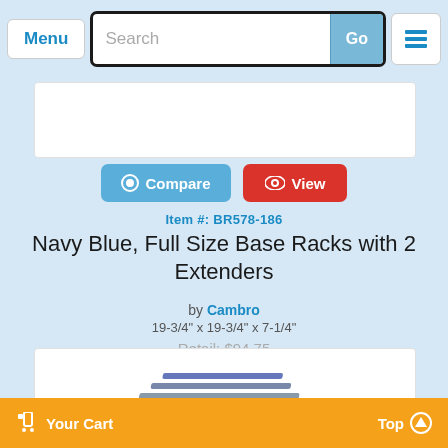Menu | Search | Go
Item #: BR578-186
Navy Blue, Full Size Base Racks with 2 Extenders
by Cambro
19-3/4" x 19-3/4" x 7-1/4"
Retail: $94.75
$48.52
As Low As $44.79 When You Buy 5
[Figure (photo): Partial product image of navy blue base rack visible at bottom of page]
Your Cart | Top